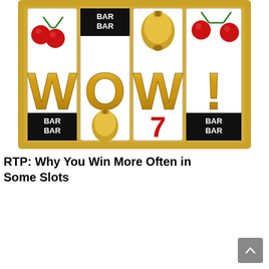[Figure (illustration): Slot machine reels showing 'WOW!' with casino symbols: cherries, BAR BAR text, bells, gold letters W O W and exclamation mark, 7 in red, on a gold-framed slot machine background.]
RTP: Why You Win More Often in Some Slots